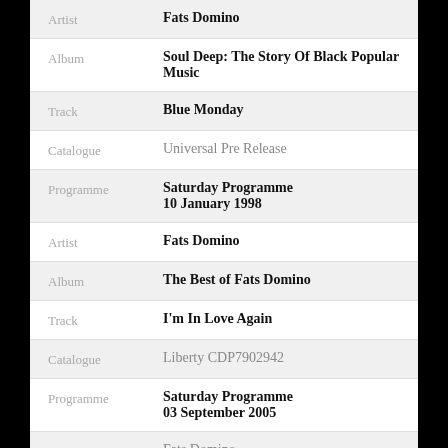| Field | Value |
| --- | --- |
| Artist | Fats Domino |
| Album | Soul Deep: The Story Of Black Popular Music |
| Track | Blue Monday |
| Catalogue | Universal Pre Release |
| Programme | Saturday Programme
10 January 1998 |
| Artist | Fats Domino |
| Album | The Best of Fats Domino |
| Track | I'm In Love Again |
| Catalogue | Liberty CDP7902942 |
| Programme | Saturday Programme
03 September 2005 |
| Artist | Fats Domino |